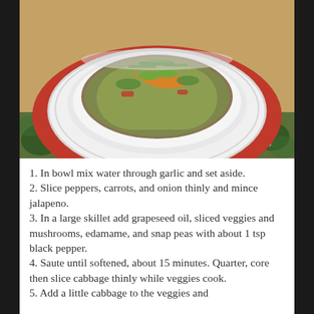[Figure (photo): A white bowl filled with stir-fried vegetables including cabbage, carrots, snap peas, edamame, and green onions, served on a red plate on a floral tablecloth.]
1. In bowl mix water through garlic and set aside.
2. Slice peppers, carrots, and onion thinly and mince jalapeno.
3. In a large skillet add grapeseed oil, sliced veggies and mushrooms, edamame, and snap peas with about 1 tsp black pepper.
4. Saute until softened, about 15 minutes. Quarter, core then slice cabbage thinly while veggies cook.
5. Add a little cabbage to the veggies and